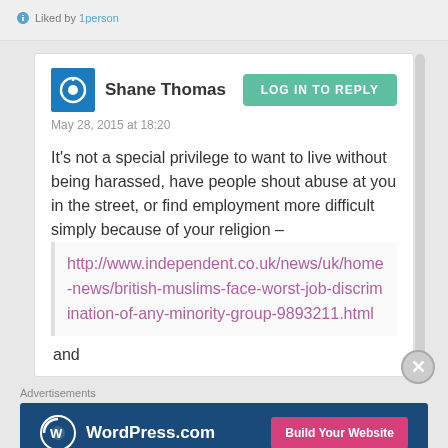Liked by 1person
Shane Thomas
May 28, 2015 at 18:20
It's not a special privilege to want to live without being harassed, have people shout abuse at you in the street, or find employment more difficult simply because of your religion –
http://www.independent.co.uk/news/uk/home-news/british-muslims-face-worst-job-discrimination-of-any-minority-group-9893211.html
and
Advertisements
[Figure (screenshot): WordPress.com advertisement banner with Build Your Website button]